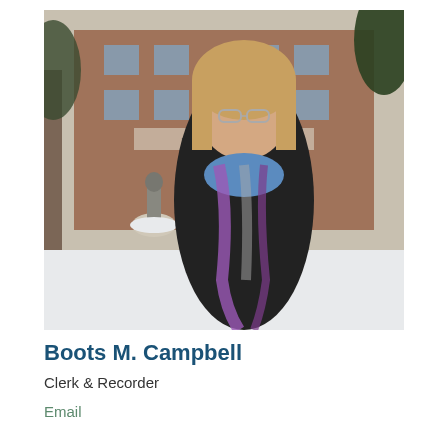[Figure (photo): Outdoor winter photo of a woman with blonde hair and glasses, wearing a black blazer and blue turtleneck with a purple and grey scarf, standing in front of a brick building (Rio Blanco County courthouse) with snow on the ground and a statue visible in the background.]
Boots M. Campbell
Clerk & Recorder
Email